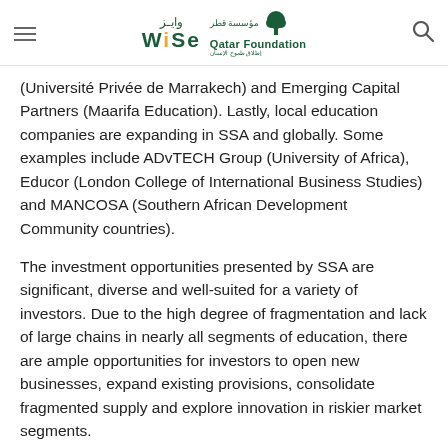WISE / Qatar Foundation header with navigation
(Université Privée de Marrakech) and Emerging Capital Partners (Maarifa Education). Lastly, local education companies are expanding in SSA and globally. Some examples include ADvTECH Group (University of Africa), Educor (London College of International Business Studies) and MANCOSA (Southern African Development Community countries).
The investment opportunities presented by SSA are significant, diverse and well-suited for a variety of investors. Due to the high degree of fragmentation and lack of large chains in nearly all segments of education, there are ample opportunities for investors to open new businesses, expand existing provisions, consolidate fragmented supply and explore innovation in riskier market segments.